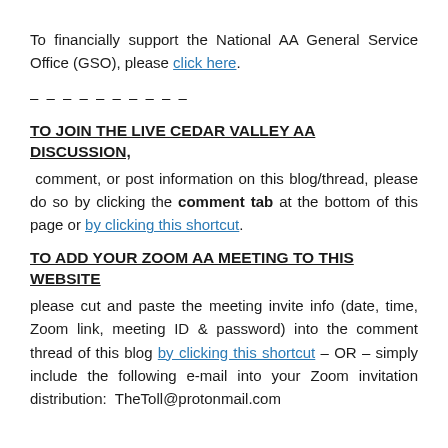To financially support the National AA General Service Office (GSO), please click here.
– – – – – – – – – –
TO JOIN THE LIVE CEDAR VALLEY AA DISCUSSION,
comment, or post information on this blog/thread, please do so by clicking the comment tab at the bottom of this page or by clicking this shortcut.
TO ADD YOUR ZOOM AA MEETING TO THIS WEBSITE
please cut and paste the meeting invite info (date, time, Zoom link, meeting ID & password) into the comment thread of this blog by clicking this shortcut – OR – simply include the following e-mail into your Zoom invitation distribution:  TheToll@protonmail.com